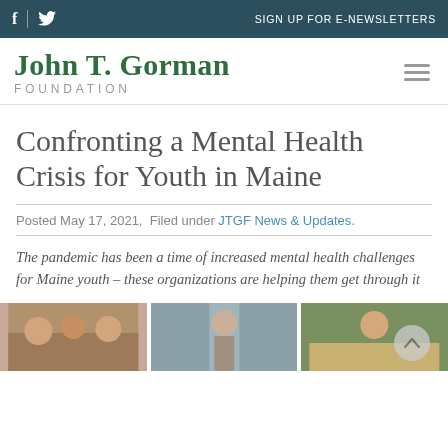f  [twitter icon]   SIGN UP FOR E-NEWSLETTERS
John T. Gorman Foundation
Confronting a Mental Health Crisis for Youth in Maine
Posted May 17, 2021,  Filed under JTGF News & Updates.
The pandemic has been a time of increased mental health challenges for Maine youth – these organizations are helping them get through it
[Figure (photo): Three photo thumbnails at bottom of page showing youth/people]